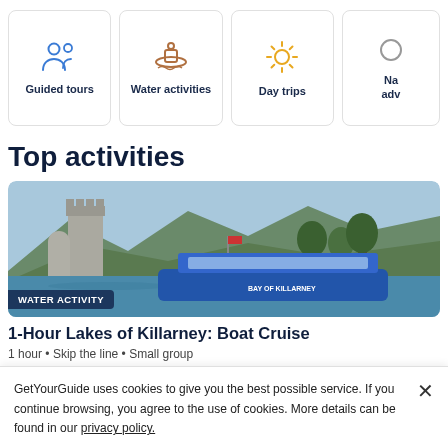[Figure (infographic): Category navigation cards: Guided tours (blue people icon), Water activities (brown boat icon), Day trips (yellow sun icon), and a partially visible fourth card starting with 'Na... adv...']
Top activities
[Figure (photo): A blue passenger boat on a lake with castle ruins, mountains and trees in background. Badge reads WATER ACTIVITY.]
1-Hour Lakes of Killarney: Boat Cruise
1 hour • Skip the line • Small group
GetYourGuide uses cookies to give you the best possible service. If you continue browsing, you agree to the use of cookies. More details can be found in our privacy policy.